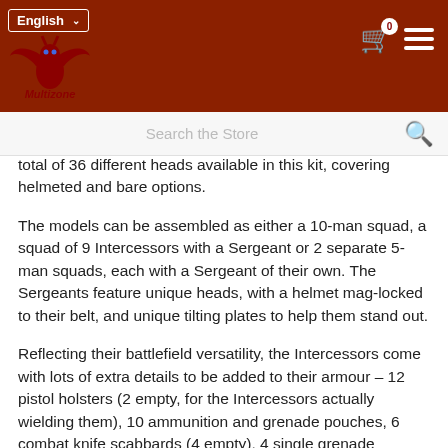English  [cart] 0  [menu]
[Figure (logo): Multizone game store logo with dragon wings and bat imagery in red and blue]
Search the Store
total of 36 different heads available in this kit, covering helmeted and bare options.
The models can be assembled as either a 10-man squad, a squad of 9 Intercessors with a Sergeant or 2 separate 5-man squads, each with a Sergeant of their own. The Sergeants feature unique heads, with a helmet mag-locked to their belt, and unique tilting plates to help them stand out.
Reflecting their battlefield versatility, the Intercessors come with lots of extra details to be added to their armour – 12 pistol holsters (2 empty, for the Intercessors actually wielding them), 10 ammunition and grenade pouches, 6 combat knife scabbards (4 empty), 4 single grenade pouches and 4 bolt pistol ammunition pouches.